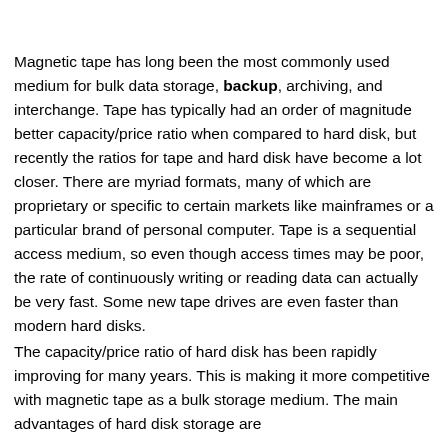Magnetic tape has long been the most commonly used medium for bulk data storage, backup, archiving, and interchange. Tape has typically had an order of magnitude better capacity/price ratio when compared to hard disk, but recently the ratios for tape and hard disk have become a lot closer. There are myriad formats, many of which are proprietary or specific to certain markets like mainframes or a particular brand of personal computer. Tape is a sequential access medium, so even though access times may be poor, the rate of continuously writing or reading data can actually be very fast. Some new tape drives are even faster than modern hard disks.
The capacity/price ratio of hard disk has been rapidly improving for many years. This is making it more competitive with magnetic tape as a bulk storage medium. The main advantages of hard disk storage are